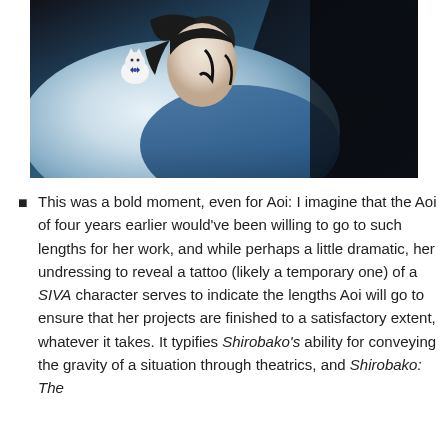[Figure (illustration): Anime screenshot showing a character with dark hair wearing a blue outfit, with a small white cat-like figure with a bow tie visible on their shoulder, against a dark background.]
This was a bold moment, even for Aoi: I imagine that the Aoi of four years earlier would've been willing to go to such lengths for her work, and while perhaps a little dramatic, her undressing to reveal a tattoo (likely a temporary one) of a SIVA character serves to indicate the lengths Aoi will go to ensure that her projects are finished to a satisfactory extent, whatever it takes. It typifies Shirobako's ability for conveying the gravity of a situation through theatrics, and Shirobako: The